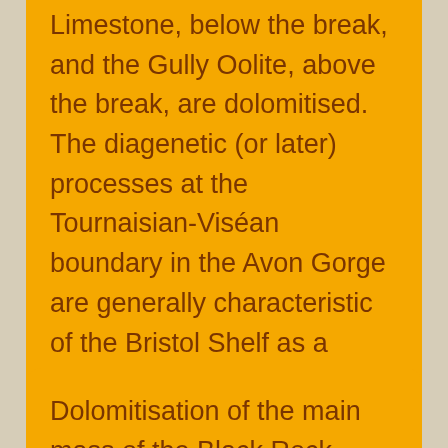Limestone, below the break, and the Gully Oolite, above the break, are dolomitised. The diagenetic (or later) processes at the Tournaisian-Viséan boundary in the Avon Gorge are generally characteristic of the Bristol Shelf as a whole, although dolomitisation becomes more severe north- westwards.
Dolomitisation of the main mass of the Black Rock Limestone was largely by refluxion, that is by the